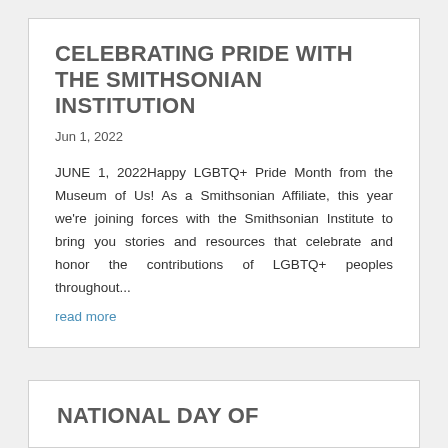CELEBRATING PRIDE WITH THE SMITHSONIAN INSTITUTION
Jun 1, 2022
JUNE 1, 2022Happy LGBTQ+ Pride Month from the Museum of Us! As a Smithsonian Affiliate, this year we're joining forces with the Smithsonian Institute to bring you stories and resources that celebrate and honor the contributions of LGBTQ+ peoples throughout...
read more
NATIONAL DAY OF